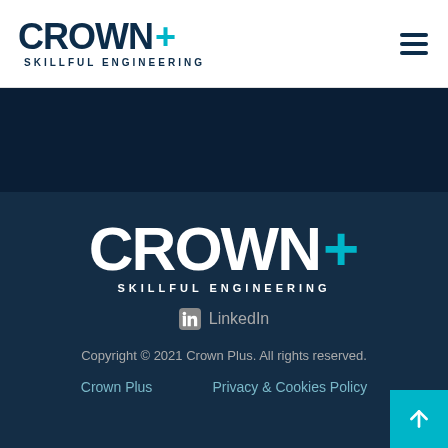[Figure (logo): Crown Plus logo with 'SKILLFUL ENGINEERING' tagline, dark navy text with teal plus sign, in white header bar]
[Figure (illustration): Dark navy band middle section, appears to be a transitional/background area]
[Figure (logo): Crown Plus logo large white text with teal plus sign and 'SKILLFUL ENGINEERING' tagline on dark navy footer background]
LinkedIn
Copyright © 2021 Crown Plus. All rights reserved.
Crown Plus    Privacy & Cookies Policy